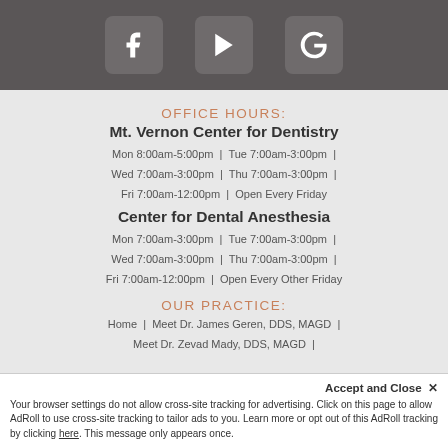[Figure (screenshot): Top dark banner with Facebook, YouTube, and Google social media icons in white on a dark grey background]
OFFICE HOURS:
Mt. Vernon Center for Dentistry
Mon 8:00am-5:00pm | Tue 7:00am-3:00pm | Wed 7:00am-3:00pm | Thu 7:00am-3:00pm | Fri 7:00am-12:00pm | Open Every Friday
Center for Dental Anesthesia
Mon 7:00am-3:00pm | Tue 7:00am-3:00pm | Wed 7:00am-3:00pm | Thu 7:00am-3:00pm | Fri 7:00am-12:00pm | Open Every Other Friday
OUR PRACTICE:
Home | Meet Dr. James Geren, DDS, MAGD | Meet Dr. Zevad Mady, DDS, MAGD |
Accept and Close ✕
Your browser settings do not allow cross-site tracking for advertising. Click on this page to allow AdRoll to use cross-site tracking to tailor ads to you. Learn more or opt out of this AdRoll tracking by clicking here. This message only appears once.